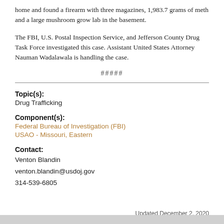home and found a firearm with three magazines, 1,983.7 grams of meth and a large mushroom grow lab in the basement.
The FBI, U.S. Postal Inspection Service, and Jefferson County Drug Task Force investigated this case. Assistant United States Attorney Nauman Wadalawala is handling the case.
#####
Topic(s):
Drug Trafficking
Component(s):
Federal Bureau of Investigation (FBI)
USAO - Missouri, Eastern
Contact:
Venton Blandin
venton.blandin@usdoj.gov
314-539-6805
Updated December 2, 2020